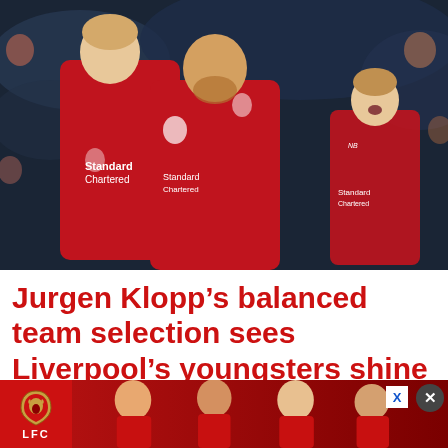[Figure (photo): Three Liverpool FC players in red jerseys celebrating on the pitch, hugging each other, with a crowd in the background. A third player runs toward them from the right.]
Jurgen Klopp’s balanced team selection sees Liverpool’s youngsters shine against Exeter
Jan 20, 2016
[Figure (photo): Liverpool FC advertisement banner showing the LFC crest and players in red kit, with an X close button and a circular close button.]